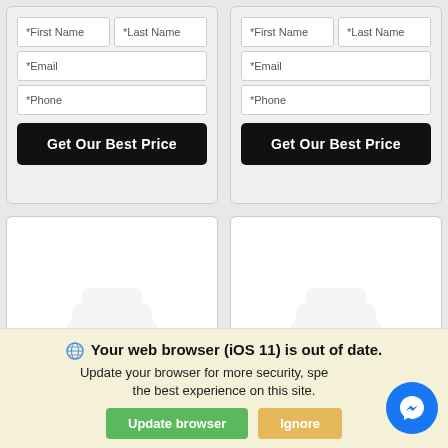[Figure (screenshot): Two web form panels side by side, each with First Name, Last Name, Email, Phone fields and a 'Get Our Best Price' black button]
[Figure (screenshot): Two empty white panels side by side, with faint placeholder car/vehicle icons in the center]
Your web browser (iOS 11) is out of date. Update your browser for more security, speed and the best experience on this site.
[Figure (other): Update browser (green button) and Ignore (orange button), with Facebook Messenger blue circle icon at bottom right]